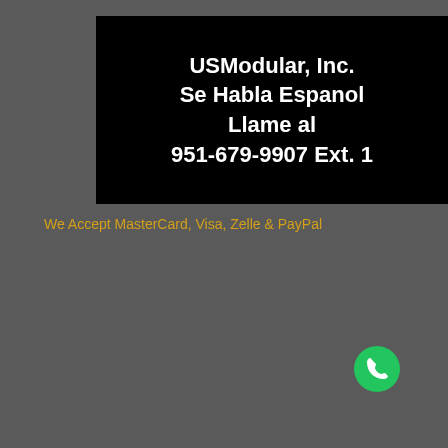[Figure (infographic): Black banner with white bold text: USModular, Inc. / Se Habla Espanol / Llame al / 951-679-9907 Ext. 1]
We Accept MasterCard, Visa, Zelle & PayPal
[Figure (logo): Payment logos: Zelle (purple background), PayPal, and Visa stacked vertically]
[Figure (infographic): Green circular phone call button in the bottom right corner]